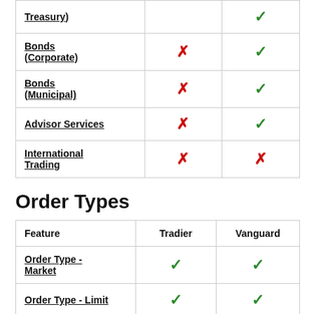| Feature | Tradier | Vanguard |
| --- | --- | --- |
| Treasury) |  | ✓ |
| Bonds (Corporate) | ✗ | ✓ |
| Bonds (Municipal) | ✗ | ✓ |
| Advisor Services | ✗ | ✓ |
| International Trading | ✗ | ✗ |
Order Types
| Feature | Tradier | Vanguard |
| --- | --- | --- |
| Order Type - Market | ✓ | ✓ |
| Order Type - Limit | ✓ | ✓ |
| Order Type - ... |  |  |